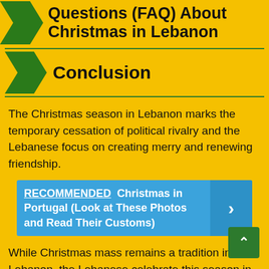Questions (FAQ) About Christmas in Lebanon
Conclusion
The Christmas season in Lebanon marks the temporary cessation of political rivalry and the Lebanese focus on creating merry and renewing friendship.
RECOMMENDED  Christmas in Portugal (Look at These Photos and Read Their Customs)
While Christmas mass remains a tradition in Lebanon, the Lebanese celebrate this season in such a secular manner that everyone is enticed to join in. People in Lebanon wish each other Merry